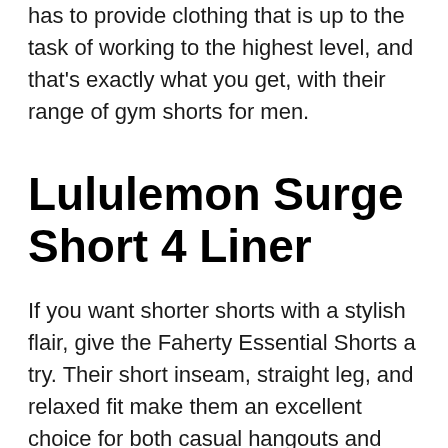has to provide clothing that is up to the task of working to the highest level, and that's exactly what you get, with their range of gym shorts for men.
Lululemon Surge Short 4 Liner
If you want shorter shorts with a stylish flair, give the Faherty Essential Shorts a try. Their short inseam, straight leg, and relaxed fit make them an excellent choice for both casual hangouts and dressing up for a night out on the town. Made with a blend of organic cotton, linen, and synthetic modal fabric, they're as tough as they are classy.
So if you're looking to spend your time